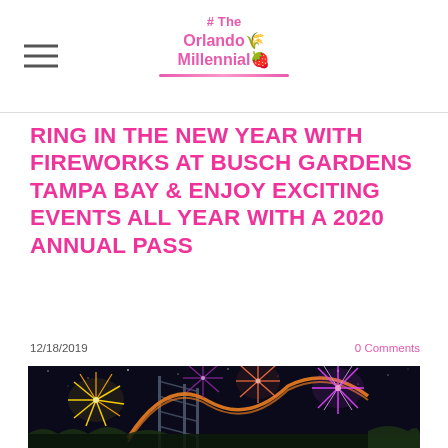# The Orlando Millennial
RING IN THE NEW YEAR WITH FIREWORKS AT BUSCH GARDENS TAMPA BAY & ENJOY EXCITING EVENTS ALL YEAR WITH A 2020 ANNUAL PASS
12/18/2019
0 Comments
[Figure (photo): Nighttime photo of fireworks exploding over a roller coaster structure at Busch Gardens Tampa Bay. Multiple colorful fireworks in pink, orange, gold and purple burst above and around the coaster's steel framework against a dark night sky.]